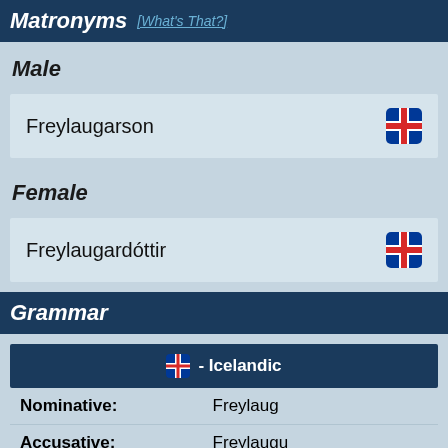Matronyms [What's That?]
Male
Freylaugarson
Female
Freylaugardóttir
Grammar
|  | - Icelandic |  |
| --- | --- | --- |
| Nominative: | Freylaug |
| Accusative: | Freylaugu |
| Dative: | Freylaugu |
| Genitive: | Freylaugar |